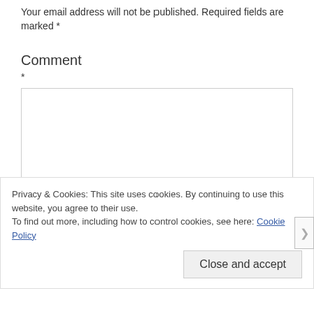Your email address will not be published. Required fields are marked *
Comment
*
Privacy & Cookies: This site uses cookies. By continuing to use this website, you agree to their use.
To find out more, including how to control cookies, see here: Cookie Policy
Close and accept